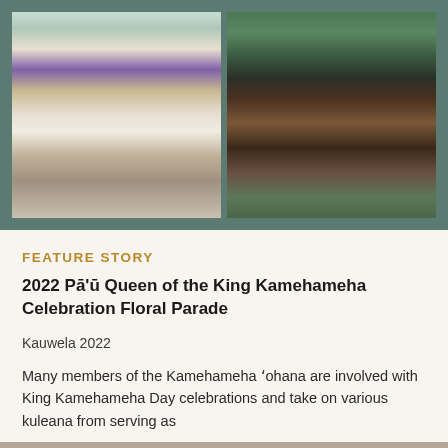[Figure (photo): Two photos side by side: left photo shows a woman in a purple outfit adorned with flower leis riding a white horse decorated with a floral garland; right photo shows a person in a dark cloak and traditional Hawaiian attire riding a brown horse in a parade setting.]
FEATURE STORY
2022 Pā'ū Queen of the King Kamehameha Celebration Floral Parade
Kauwela 2022
Many members of the Kamehameha ʻohana are involved with King Kamehameha Day celebrations and take on various kuleana from serving as